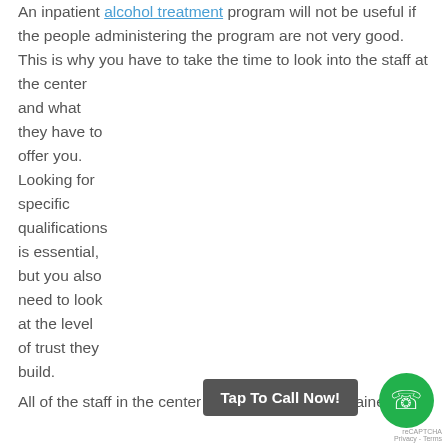An inpatient alcohol treatment program will not be useful if the people administering the program are not very good. This is why you have to take the time to look into the staff at the center and what they have to offer you. Looking for specific qualifications is essential, but you also need to look at the level of trust they build.
All of the staff in the center should be medically trained...